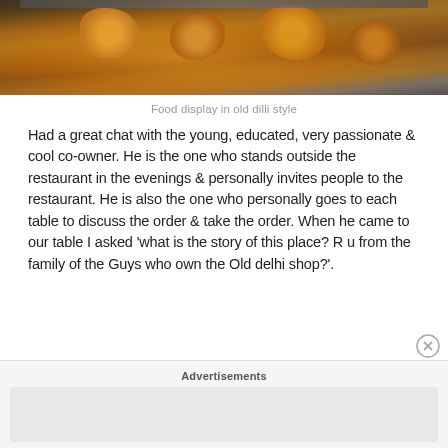[Figure (photo): Photo of food displayed in old Delhi style — golden fried/grilled food items on a silver tray, partially cropped at top]
Food display in old dilli style
Had a great chat with the young, educated, very passionate & cool co-owner. He is the one who stands outside the restaurant in the evenings & personally invites people to the restaurant. He is also the one who personally goes to each table to discuss the order & take the order. When he came to our table I asked 'what is the story of this place? R u from the family of the Guys who own the Old delhi shop?'.
Advertisements